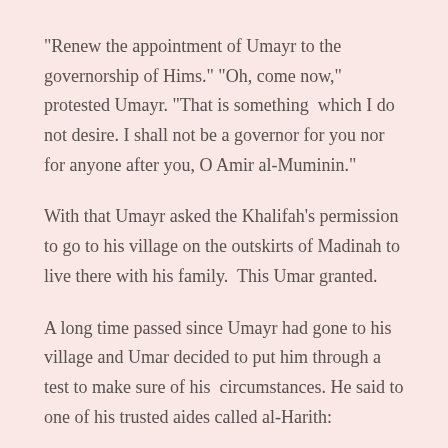"Renew the appointment of Umayr to the governorship of Hims." "Oh, come now," protested Umayr. "That is something  which I do not desire. I shall not be a governor for you nor for anyone after you, O Amir al-Muminin."
With that Umayr asked the Khalifah's permission to go to his village on the outskirts of Madinah to live there with his family.  This Umar granted.
A long time passed since Umayr had gone to his village and Umar decided to put him through a test to make sure of his  circumstances. He said to one of his trusted aides called al-Harith: